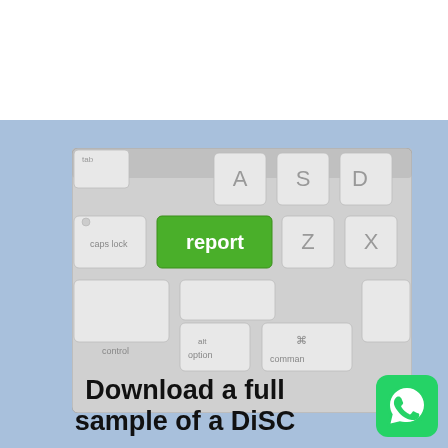[Figure (photo): A close-up photo of a keyboard with a green key labeled 'report' in white text, surrounded by standard white/gray keyboard keys including caps lock, tab, A, S, Z, X, control, alt/option, and command keys.]
Download a full sample of a DiSC
[Figure (logo): WhatsApp logo icon — green rounded square with white phone/chat bubble icon]